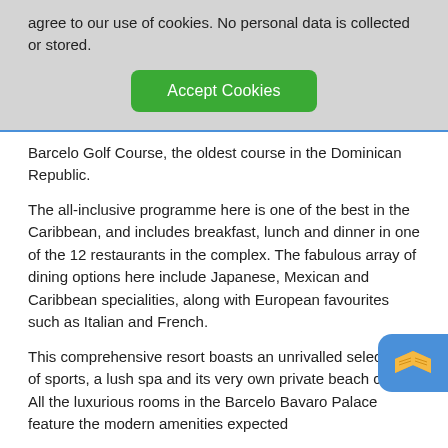agree to our use of cookies. No personal data is collected or stored.
Accept Cookies
Barcelo Golf Course, the oldest course in the Dominican Republic.
The all-inclusive programme here is one of the best in the Caribbean, and includes breakfast, lunch and dinner in one of the 12 restaurants in the complex. The fabulous array of dining options here include Japanese, Mexican and Caribbean specialities, along with European favourites such as Italian and French.
This comprehensive resort boasts an unrivalled selection of sports, a lush spa and its very own private beach club. All the luxurious rooms in the Barcelo Bavaro Palace feature the modern amenities expected